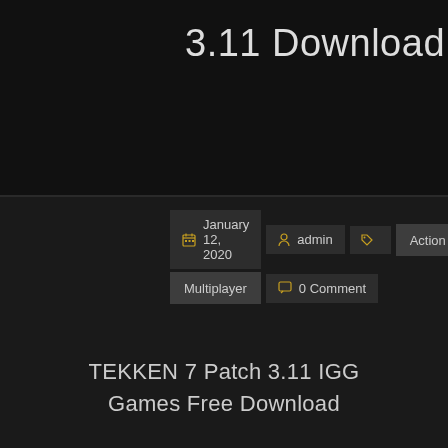3.11 Download
January 12, 2020  admin  Action  Fight  Multiplayer  0 Comment
TEKKEN 7 Patch 3.11 IGG Games Free Download